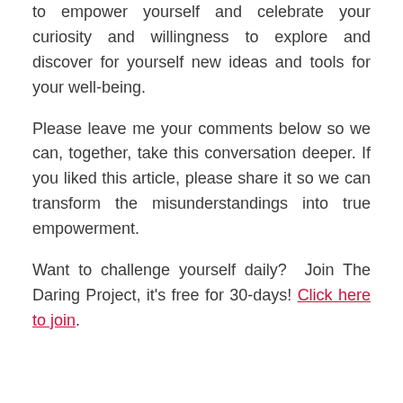to empower yourself and celebrate your curiosity and willingness to explore and discover for yourself new ideas and tools for your well-being.
Please leave me your comments below so we can, together, take this conversation deeper. If you liked this article, please share it so we can transform the misunderstandings into true empowerment.
Want to challenge yourself daily? Join The Daring Project, it's free for 30-days! Click here to join.